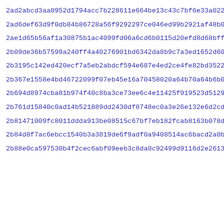2ad2abcd3aa0952d1794acc7b228611e664be13c43c7bf6e33a022e6d70aa
2ad6def63d9f0db84b86728a56f9292297ce046ed99b2921af48b0f7fd7e0
2ae1d65b56af1a30875b1ac4099fd06a6cd6b0115d20efd8d68bffe5e48ca
2b09de36b57599a240ff4a40276901bd6342da8b9c7a3ed1652d60f355b6c
2b3195c142ed420ecf7a5eb2abdcf594e687e4ed2ce4fe82bd352201813b7
2b367e1558e4bd46722099f07eb45e16a70458020a64b70a64b6b0a960db60
2b694d8974cba81b974f40c8ba3ce73ee6c4e11425f919523d51295657282
2b761d15840c0ad14b521889dd2430df8748ec0a3e26e132e6d2cd4f15fda
2b81471009fc8011ddda913be08515c67bf7eb182fcab8163b078d513dc5e
2b84d8f7ac6ebcc1540b3a3819de6f9adf0a9408514ac6bacd2a0bb57040b
2b88e0ca597530b4f2cec6abf09eeb3c8da0c92499d9116d2e26138bc19f9